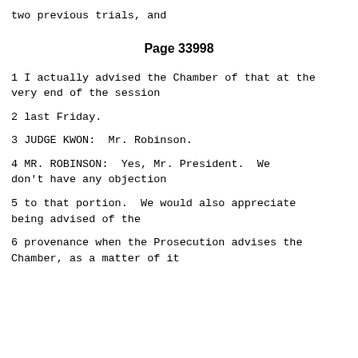two previous trials, and
Page 33998
1     I actually advised the Chamber of that at the very end of the session
2     last Friday.
3              JUDGE KWON:  Mr. Robinson.
4              MR. ROBINSON:  Yes, Mr. President.  We don't have any objection
5     to that portion.  We would also appreciate being advised of the
6     provenance when the Prosecution advises the Chamber, as a matter of it